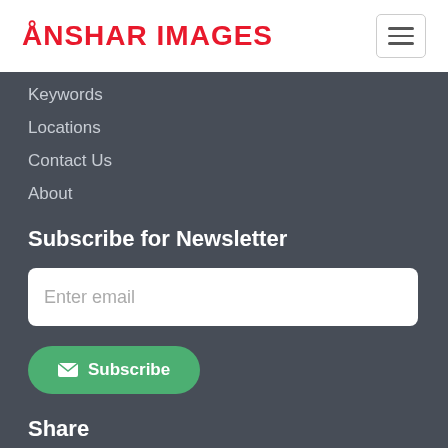ÅNSHAR IMAGES
Keywords
Locations
Contact Us
About
Subscribe for Newsletter
Enter email
Subscribe
Share
0 Like Share Tweet